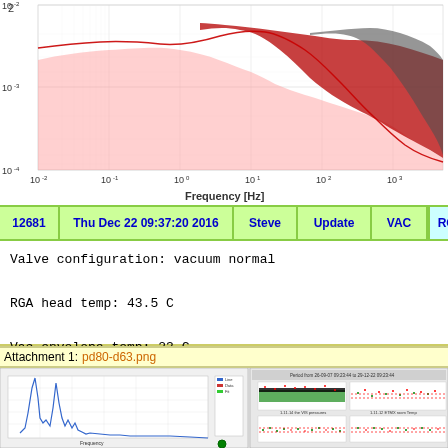[Figure (continuous-plot): Log-log frequency spectrum plot showing spectral density vs frequency in Hz, with red/pink shaded areas indicating noise spectra from approximately 10^-2 to 10^3 Hz, and dark gray/red curves showing measurement data. Y-axis ranges from 10^-4 to 10^-2, X-axis from 10^-2 to beyond 10^3 Hz.]
| ID | Timestamp | Author | Action | System | Type |
| --- | --- | --- | --- | --- | --- |
| 12681 | Thu Dec 22 09:37:20 2016 | Steve | Update | VAC | RGA |
Valve configuration: vacuum normal

RGA head temp: 43.5 C

Vac envelope temp: 23 C
Attachment 1: pd80-d63.png
[Figure (screenshot): Screenshot showing two panels: left panel contains a blue line chart (frequency/spectrum plot with sharp peaks), right panel shows a monitoring interface with green/black scatter data plots and red/green dot scatter plots, resembling a scientific data acquisition or monitoring system.]